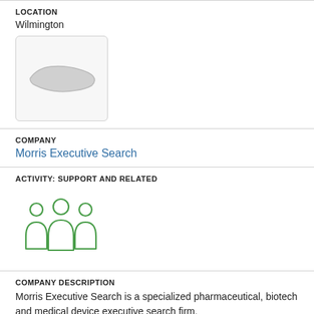LOCATION
Wilmington
[Figure (map): Small map placeholder showing North Carolina state outline in gray on light background]
COMPANY
Morris Executive Search
ACTIVITY: SUPPORT AND RELATED
[Figure (illustration): Green icon showing three human figures representing a team or group]
COMPANY DESCRIPTION
Morris Executive Search is a specialized pharmaceutical, biotech and medical device executive search firm.